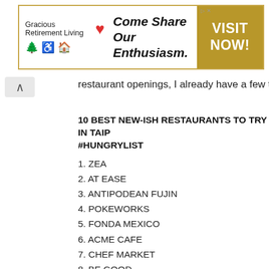[Figure (other): Advertisement banner for Gracious Retirement Living with heart logo, accessibility icons, tagline 'Come Share Our Enthusiasm.' and gold 'VISIT NOW!' call-to-action button]
restaurant openings, I already have a few to mentio
10 BEST NEW-ISH RESTAURANTS TO TRY IN TAIP #HUNGRYLIST
1. ZEA
2. AT EASE
3. ANTIPODEAN FUJIN
4. POKEWORKS
5. FONDA MEXICO
6. ACME CAFE
7. CHEF MARKET
8. BE GOOD
9. LILLA (HSINCHU)
10. HSINCHUKU (HSINCHU)